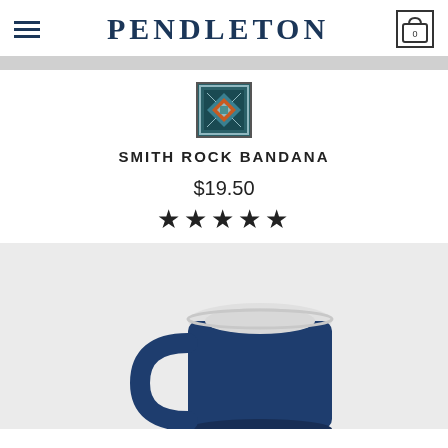PENDLETON
[Figure (photo): Small thumbnail image of the Smith Rock Bandana product with a geometric Native American pattern in teal, blue, and earth tones]
SMITH ROCK BANDANA
$19.50
★★★★★
[Figure (photo): Photo of a dark navy blue ceramic mug with white interior, shown from a slightly elevated angle against a light gray background]